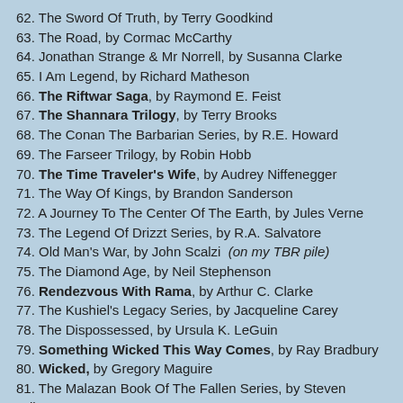62. The Sword Of Truth, by Terry Goodkind
63. The Road, by Cormac McCarthy
64. Jonathan Strange & Mr Norrell, by Susanna Clarke
65. I Am Legend, by Richard Matheson
66. The Riftwar Saga, by Raymond E. Feist
67. The Shannara Trilogy, by Terry Brooks
68. The Conan The Barbarian Series, by R.E. Howard
69. The Farseer Trilogy, by Robin Hobb
70. The Time Traveler's Wife, by Audrey Niffenegger
71. The Way Of Kings, by Brandon Sanderson
72. A Journey To The Center Of The Earth, by Jules Verne
73. The Legend Of Drizzt Series, by R.A. Salvatore
74. Old Man's War, by John Scalzi (on my TBR pile)
75. The Diamond Age, by Neil Stephenson
76. Rendezvous With Rama, by Arthur C. Clarke
77. The Kushiel's Legacy Series, by Jacqueline Carey
78. The Dispossessed, by Ursula K. LeGuin
79. Something Wicked This Way Comes, by Ray Bradbury
80. Wicked, by Gregory Maguire
81. The Malazan Book Of The Fallen Series, by Steven Erikson